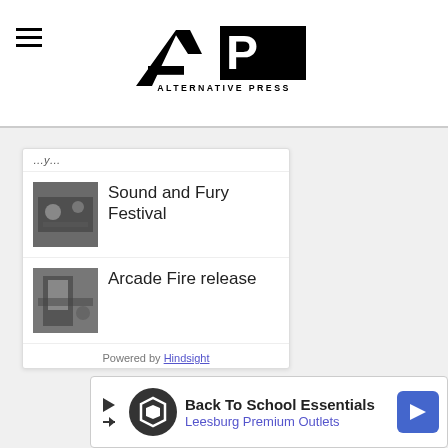Alternative Press
Sound and Fury Festival
Arcade Fire release
Powered by Hindsight
While nothing has been confirmed, there have been discussions in the music industry about potentially having to prove you were vaccinated upon entry with a medical ID card in the future. Companies are even working to create a hazmat-style su...
[Figure (other): Back To School Essentials - Leesburg Premium Outlets advertisement banner]